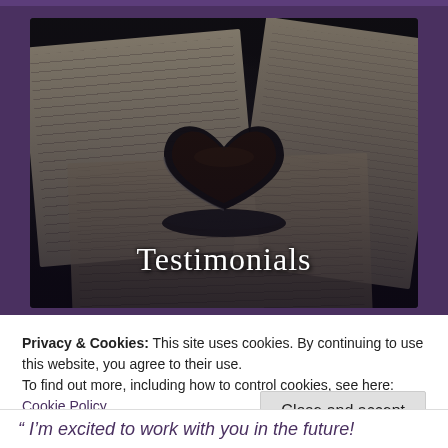[Figure (photo): Dark moody photo of open book pages with a heart-shaped coffee cup in the center, overlaid with the word 'Testimonials' in white handwritten/cursive font]
Privacy & Cookies: This site uses cookies. By continuing to use this website, you agree to their use.
To find out more, including how to control cookies, see here: Cookie Policy
Close and accept
" I'm excited to work with you in the future!